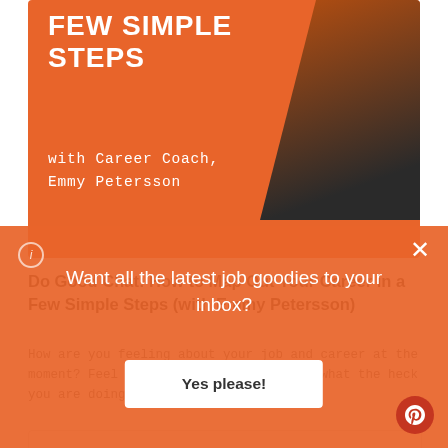[Figure (photo): Orange banner card with bold white uppercase text 'FEW SIMPLE STEPS' and subtitle 'with Career Coach, Emmy Petersson', with a dark photo of a person on the right side]
Do Good Chat: How to Map Out Your Career in a Few Simple Steps (with Emmy Petersson)
How are you feeling about your job and career at the moment? Feel stuck in a rut, wondering what the heck you are doing and need a
[Figure (screenshot): White content card with light border]
Want all the latest job goodies to your inbox?
Yes please!